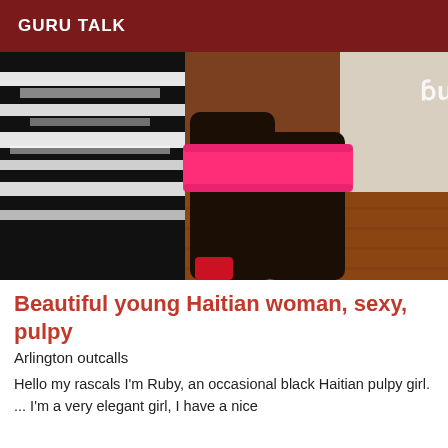GURU TALK
[Figure (photo): Photo of a woman wearing black stockings with a pink garter/band, and a black and white zebra-print skirt/dress, standing on a wooden floor. Text watermark visible in background.]
Beautiful young Haitian woman, sexy, pulpy
Arlington outcalls
Hello my rascals I'm Ruby, an occasional black Haitian pulpy girl. ... I'm a very elegant girl, I have a nice